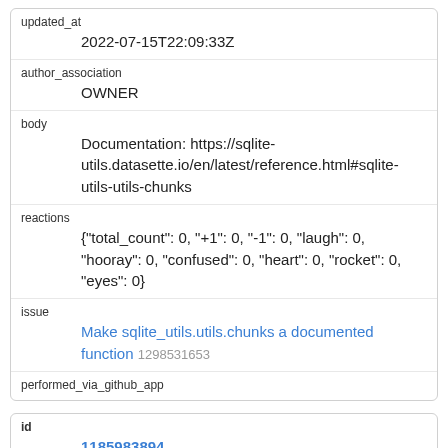| key | value |
| --- | --- |
| updated_at | 2022-07-15T22:09:33Z |
| author_association | OWNER |
| body | Documentation: https://sqlite-utils.datasette.io/en/latest/reference.html#sqlite-utils-utils-chunks |
| reactions | {"total_count": 0, "+1": 0, "-1": 0, "laugh": 0, "hooray": 0, "confused": 0, "heart": 0, "rocket": 0, "eyes": 0} |
| issue | Make sqlite_utils.utils.chunks a documented function 1298531653 |
| performed_via_github_app |  |
| key | value |
| --- | --- |
| id | 1185983894 |